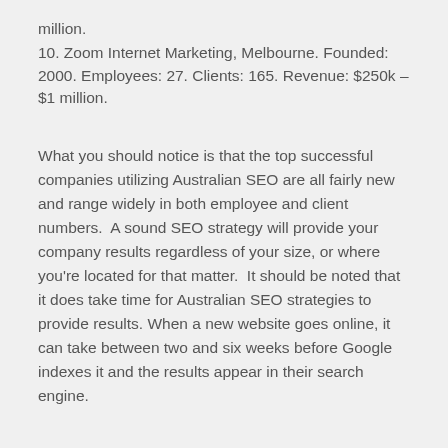million.
10. Zoom Internet Marketing, Melbourne. Founded: 2000. Employees: 27. Clients: 165. Revenue: $250k – $1 million.
What you should notice is that the top successful companies utilizing Australian SEO are all fairly new and range widely in both employee and client numbers.  A sound SEO strategy will provide your company results regardless of your size, or where you're located for that matter.  It should be noted that it does take time for Australian SEO strategies to provide results. When a new website goes online, it can take between two and six weeks before Google indexes it and the results appear in their search engine.
What about Affordable or Low Cost SEO Australia or "SEO cheap"?